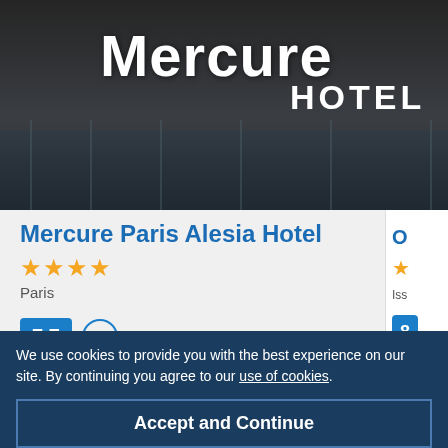[Figure (photo): Mercure Hotel exterior sign on a dark glass building facade]
Mercure Paris Alesia Hotel
★★★★
Paris
7.7 (based on 9 reviews)
Room Price from £41 (per person per night)
View More
We use cookies to provide you with the best experience on our site. By continuing you agree to our use of cookies.
Accept and Continue